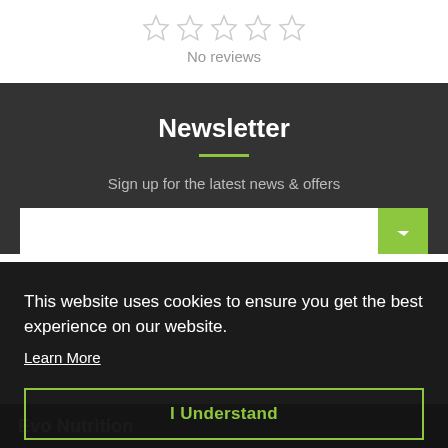[Figure (other): Five empty star rating icons in a row]
No reviews
Newsletter
Sign up for the latest news & offers
This website uses cookies to ensure you get the best experience on our website.
Learn More
I Understand
Evo Nutrition